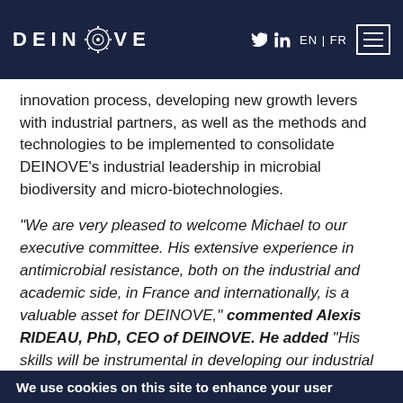DEINOVE — EN | FR
innovation process, developing new growth levers with industrial partners, as well as the methods and technologies to be implemented to consolidate DEINOVE's industrial leadership in microbial biodiversity and micro-biotechnologies.
“We are very pleased to welcome Michael to our executive committee. His extensive experience in antimicrobial resistance, both on the industrial and academic side, in France and internationally, is a valuable asset for DEINOVE,” commented Alexis RIDEAU, PhD, CEO of DEINOVE. He added “His skills will be instrumental in developing our industrial platform and extracting maximum value from it in other fields”.
We use cookies on this site to enhance your user